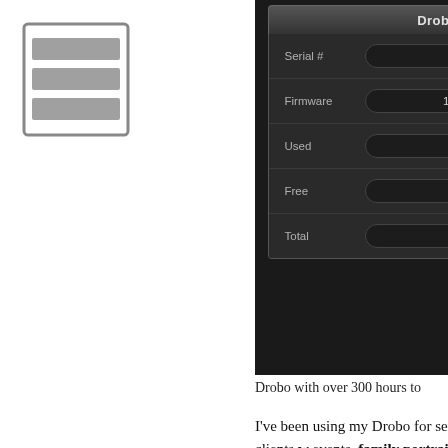[Figure (logo): Gray icon resembling a grid/table with three horizontal rows inside a square border]
[Figure (screenshot): Drobo Info panel screenshot showing Serial #: TDC083220701, Firmware: 1.4.2 [1.254.50341], Used: 2.02 TB (37%), Free: 3.39 TB (63%), Total: 5.42 TB]
Drobo with over 300 hours to
I've been using my Drobo for several photography including my clients w events, family portraits and a lot of content. I've had a few scares over the infamous warnings about Drobo's n on an oddly infrequent basis given the problem. Perhaps it was finding bad so it's far more sensitive then my in run flawlessly (all Western Digital C same time period.
Over a month ago my biggest Drob array failed completely. It kept rebooting enough to allow me to copy my data